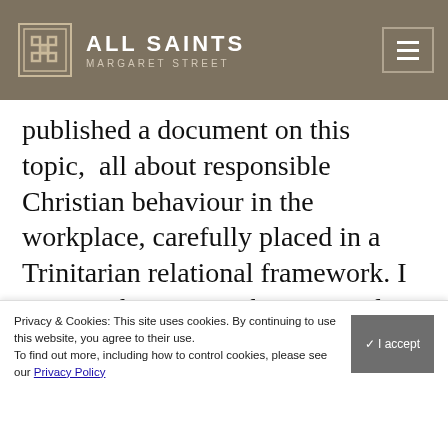ALL SAINTS MARGARET STREET
published a document on this topic,  all about responsible Christian behaviour in the workplace, carefully placed in a Trinitarian relational framework. I went to the meeting having read this document carefully, only to discover that not only had they never heard of it, but that the pressing issue for them was whether bible-believing Christians could conscientiously undertake any work that was
Privacy & Cookies: This site uses cookies. By continuing to use this website, you agree to their use.
To find out more, including how to control cookies, please see our Privacy Policy